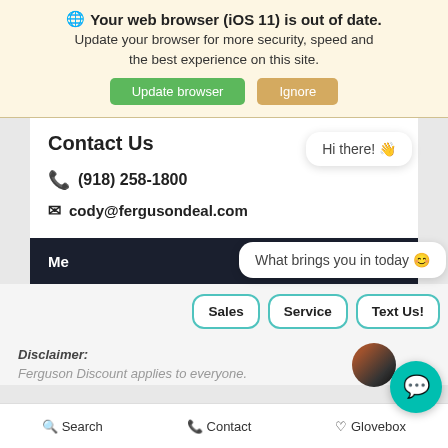🌐 Your web browser (iOS 11) is out of date. Update your browser for more security, speed and the best experience on this site.
Update browser | Ignore
Contact Us
📞 (918) 258-1800
✉ cody@fergusondeal.com
Hi there! 👋
What brings you in today 😊
Me
Sales | Service | Text Us!
Disclaimer:
Ferguson Discount applies to everyone.
🔍 Search  📞 Contact  ♡ Glovebox